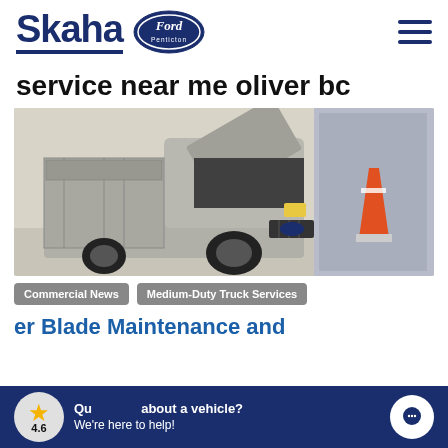Skaha Ford Penticton
service near me oliver bc
[Figure (photo): Ford service truck with hood open in a repair garage, with orange traffic cones in background]
Commercial News
Medium-Duty Truck Services
er Blade Maintenance and
Questions about a vehicle? We're here to help! 4.6